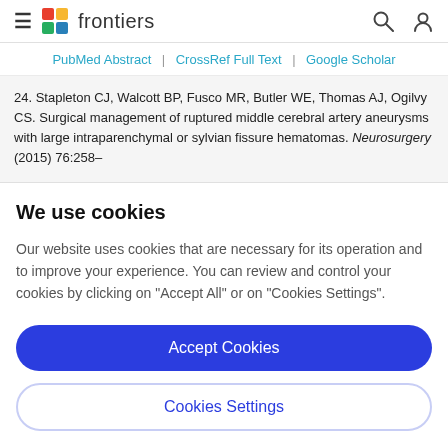frontiers
PubMed Abstract | CrossRef Full Text | Google Scholar
24. Stapleton CJ, Walcott BP, Fusco MR, Butler WE, Thomas AJ, Ogilvy CS. Surgical management of ruptured middle cerebral artery aneurysms with large intraparenchymal or sylvian fissure hematomas. Neurosurgery (2015) 76:258–
We use cookies
Our website uses cookies that are necessary for its operation and to improve your experience. You can review and control your cookies by clicking on "Accept All" or on "Cookies Settings".
Accept Cookies
Cookies Settings